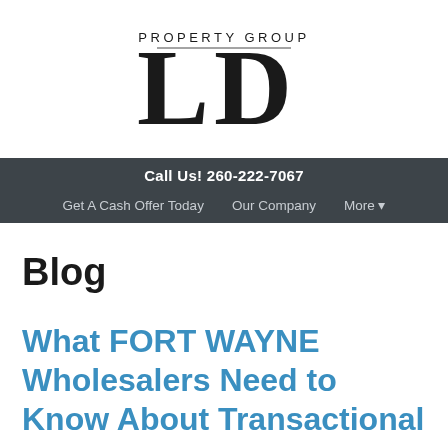[Figure (logo): LD Property Group logo — large stylized 'LD' letters in serif black with 'PROPERTY GROUP' text centered beneath]
Call Us! 260-222-7067
Get A Cash Offer Today    Our Company    More ▾
Blog
What FORT WAYNE Wholesalers Need to Know About Transactional